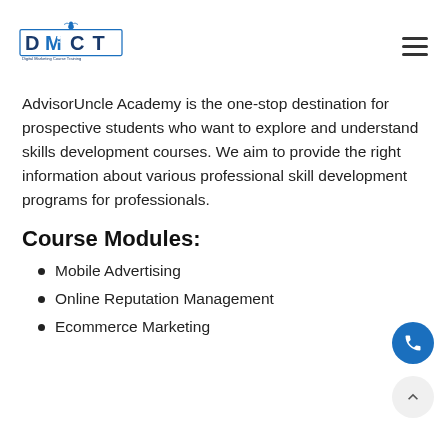[Figure (logo): DMCT Digital Marketing Course Training logo with a blue bird/human figure above the letters DMCT]
AdvisorUncle Academy is the one-stop destination for prospective students who want to explore and understand skills development courses. We aim to provide the right information about various professional skill development programs for professionals.
Course Modules:
Mobile Advertising
Online Reputation Management
Ecommerce Marketing